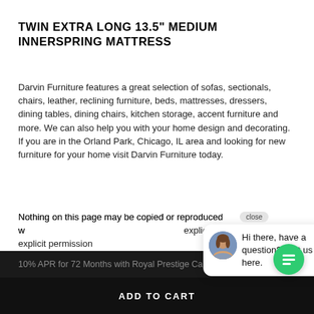TWIN EXTRA LONG 13.5" MEDIUM INNERSPRING MATTRESS
Darvin Furniture features a great selection of sofas, sectionals, chairs, leather, reclining furniture, beds, mattresses, dressers, dining tables, dining chairs, kitchen storage, accent furniture and more. We can also help you with your home design and decorating. If you are in the Orland Park, Chicago, IL area and looking for new furniture for your home visit Darvin Furniture today.
Nothing on this page may be copied or reproduced without explicit permission
Information Accuracy you with information if you find an error at you contact us directly color, features, dimensions, availability and lead times.
[Figure (screenshot): Chat popup overlay with avatar photo of a woman and text: Hi there, have a question? Text us here. With a close button and green chat button.]
ADD TO CART